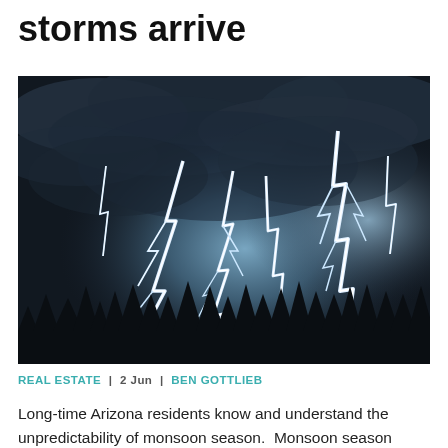storms arrive
[Figure (photo): Dramatic night photograph of multiple lightning bolts striking over a dark silhouette of trees, with blue-lit stormy clouds in the background.]
REAL ESTATE | 2 Jun | BEN GOTTLIEB
Long-time Arizona residents know and understand the unpredictability of monsoon season.  Monsoon season arrives every summer here in Arizona lasting from June through the end